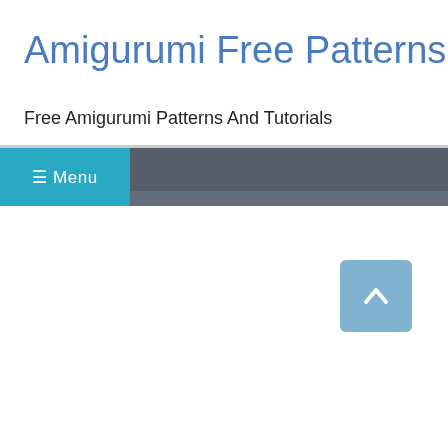Amigurumi Free Patterns
Free Amigurumi Patterns And Tutorials
≡ Menu
[Figure (screenshot): Back to top button — light blue rounded square with upward chevron arrow]